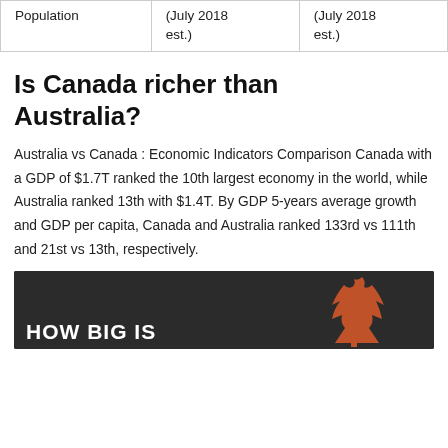| Population | (July 2018 est.) | (July 2018 est.) |
| --- | --- | --- |
Is Canada richer than Australia?
Australia vs Canada : Economic Indicators Comparison Canada with a GDP of $1.7T ranked the 10th largest economy in the world, while Australia ranked 13th with $1.4T. By GDP 5-years average growth and GDP per capita, Canada and Australia ranked 133rd vs 111th and 21st vs 13th, respectively.
[Figure (illustration): Dark background image with orange maple leaf silhouette and text 'HOW BIG IS' in white bold letters at the bottom left]